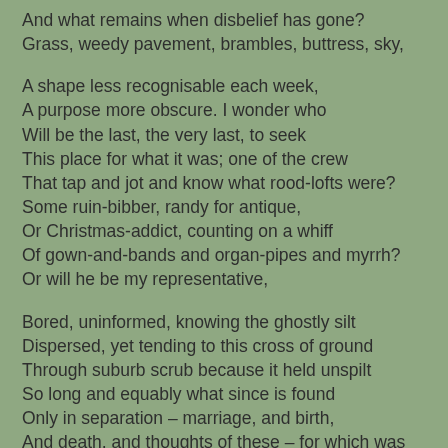And what remains when disbelief has gone?
Grass, weedy pavement, brambles, buttress, sky,

A shape less recognisable each week,
A purpose more obscure. I wonder who
Will be the last, the very last, to seek
This place for what it was; one of the crew
That tap and jot and know what rood-lofts were?
Some ruin-bibber, randy for antique,
Or Christmas-addict, counting on a whiff
Of gown-and-bands and organ-pipes and myrrh?
Or will he be my representative,

Bored, uninformed, knowing the ghostly silt
Dispersed, yet tending to this cross of ground
Through suburb scrub because it held unspilt
So long and equably what since is found
Only in separation – marriage, and birth,
And death, and thoughts of these – for which was built
This special shell? For, though I've no idea
What this accoutred frowsty barn is worth,
It pleases me to stand in silence here;